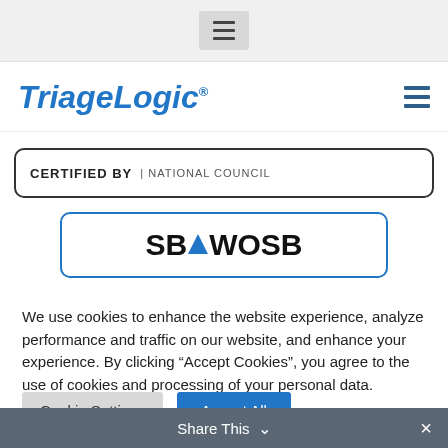[Figure (screenshot): Top gray navigation bar with hamburger menu icon]
[Figure (logo): TriageLogic logo in blue italic text with registered trademark symbol, and hamburger menu icon on the right]
[Figure (screenshot): Certified by National Council banner in a rounded rectangle border]
[Figure (logo): SBA WOSB logo in a rounded rectangle with blue border]
We use cookies to enhance the website experience, analyze performance and traffic on our website, and enhance your experience. By clicking “Accept Cookies”, you agree to the use of cookies and processing of your personal data.
[Figure (screenshot): Cookie Settings and Accept All buttons]
Share This ∨ ×